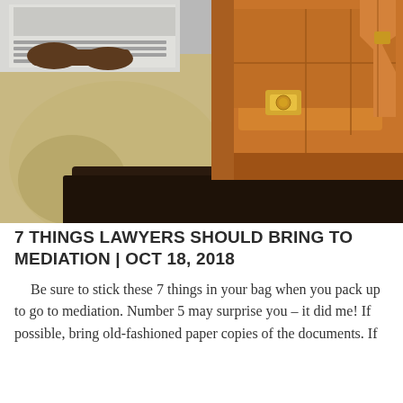[Figure (photo): Close-up photo of a person sitting with a tan/caramel leather messenger bag resting on a dark surface beside them, with a laptop visible in the background being used.]
7 THINGS LAWYERS SHOULD BRING TO MEDIATION | OCT 18, 2018
Be sure to stick these 7 things in your bag when you pack up to go to mediation. Number 5 may surprise you – it did me! If possible, bring old-fashioned paper copies of the documents. If